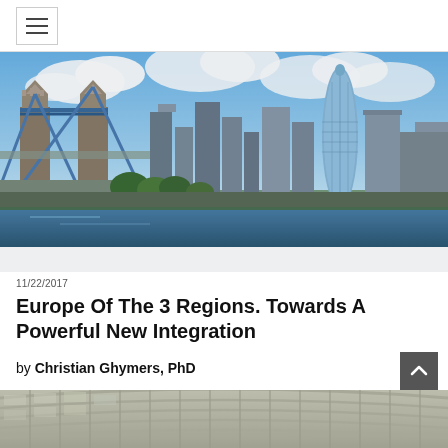navigation menu icon
[Figure (photo): Panoramic photo of London skyline featuring Tower Bridge on the left and modern skyscrapers including the Gherkin building on the right, under a blue sky with white clouds]
11/22/2017
Europe Of The 3 Regions. Towards A Powerful New Integration
by Christian Ghymers, PhD
[Figure (photo): Partial view of a modern curved glass and steel building facade, likely a European institutional building such as the European Commission Berlaymont building]